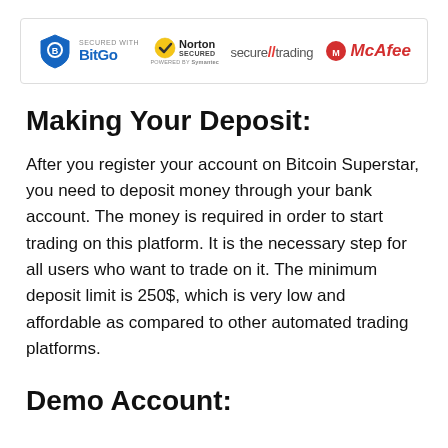[Figure (logo): Security logos: BitGo, Norton Secured powered by Symantec, secure//trading, McAfee]
Making Your Deposit:
After you register your account on Bitcoin Superstar, you need to deposit money through your bank account. The money is required in order to start trading on this platform. It is the necessary step for all users who want to trade on it. The minimum deposit limit is 250$, which is very low and affordable as compared to other automated trading platforms.
Demo Account: